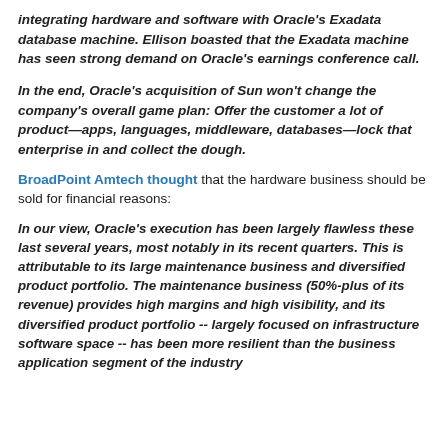integrating hardware and software with Oracle's Exadata database machine. Ellison boasted that the Exadata machine has seen strong demand on Oracle's earnings conference call.
In the end, Oracle's acquisition of Sun won't change the company's overall game plan: Offer the customer a lot of product—apps, languages, middleware, databases—lock that enterprise in and collect the dough.
BroadPoint Amtech thought that the hardware business should be sold for financial reasons:
In our view, Oracle's execution has been largely flawless these last several years, most notably in its recent quarters. This is attributable to its large maintenance business and diversified product portfolio. The maintenance business (50%-plus of its revenue) provides high margins and high visibility, and its diversified product portfolio -- largely focused on infrastructure software space -- has been more resilient than the business application segment of the industry